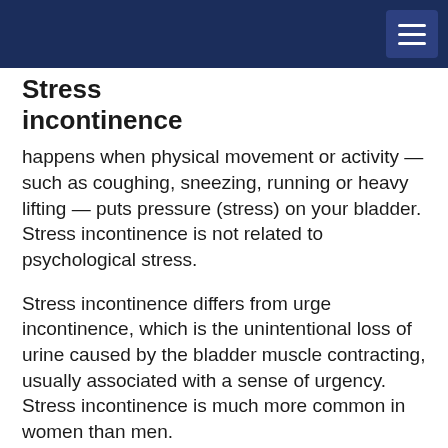Stress incontinence
happens when physical movement or activity — such as coughing, sneezing, running or heavy lifting — puts pressure (stress) on your bladder. Stress incontinence is not related to psychological stress.
Stress incontinence differs from urge incontinence, which is the unintentional loss of urine caused by the bladder muscle contracting, usually associated with a sense of urgency. Stress incontinence is much more common in women than men.
If you have stress incontinence, you may feel embarrassed, isolate yourself, or limit your work and social life, especially exercise and leisure activities. With treatment, you'll likely be able to manage…